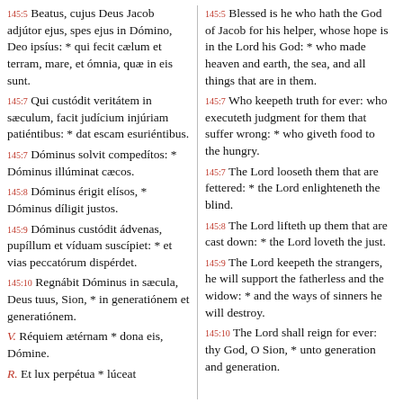145:5 Beatus, cujus Deus Jacob adjútor ejus, spes ejus in Dómino, Deo ipsíus: * qui fecit cælum et terram, mare, et ómnia, quæ in eis sunt.
145:7 Qui custódit veritátem in sæculum, facit judícium injúriam patiéntibus: * dat escam esuriéntibus.
145:7 Dóminus solvit compedítos: * Dóminus illúminat cæcos.
145:8 Dóminus érigit elísos, * Dóminus díligit justos.
145:9 Dóminus custódit ádvenas, pupíllum et víduam suscípiet: * et vias peccatórum dispérdet.
145:10 Regnábit Dóminus in sæcula, Deus tuus, Sion, * in generatiónem et generatiónem.
V. Réquiem ætérnam * dona eis, Dómine.
R. Et lux perpétua * lúceat
145:5 Blessed is he who hath the God of Jacob for his helper, whose hope is in the Lord his God: * who made heaven and earth, the sea, and all things that are in them.
145:7 Who keepeth truth for ever: who executeth judgment for them that suffer wrong: * who giveth food to the hungry.
145:7 The Lord looseth them that are fettered: * the Lord enlighteneth the blind.
145:8 The Lord lifteth up them that are cast down: * the Lord loveth the just.
145:9 The Lord keepeth the strangers, he will support the fatherless and the widow: * and the ways of sinners he will destroy.
145:10 The Lord shall reign for ever: thy God, O Sion, * unto generation and generation.